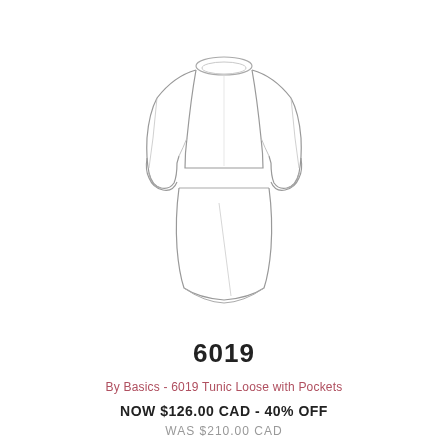[Figure (illustration): Fashion flat sketch of a loose tunic top with long sleeves, round neck, and a dropped hem panel, drawn in outline style on white background]
6019
By Basics - 6019 Tunic Loose with Pockets
NOW $126.00 CAD - 40% OFF
WAS $210.00 CAD